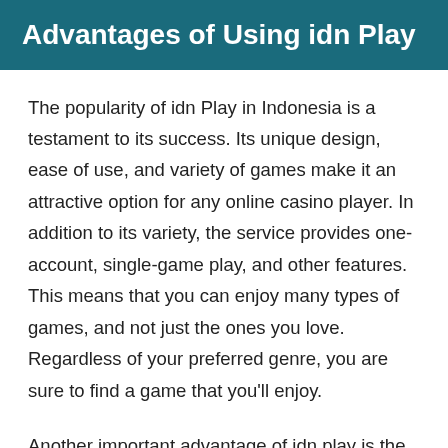Advantages of Using idn Play
The popularity of idn Play in Indonesia is a testament to its success. Its unique design, ease of use, and variety of games make it an attractive option for any online casino player. In addition to its variety, the service provides one-account, single-game play, and other features. This means that you can enjoy many types of games, and not just the ones you love. Regardless of your preferred genre, you are sure to find a game that you'll enjoy.
Another important advantage of idn play is the availability of a reliable server. With the help of a good